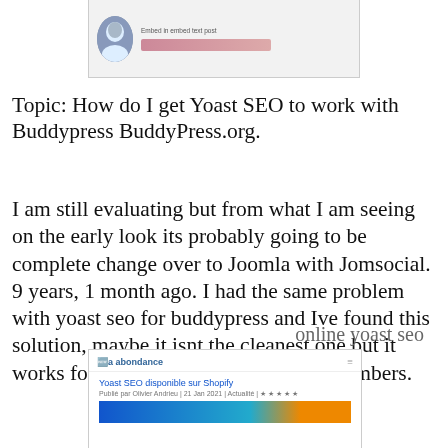[Figure (screenshot): Screenshot of a forum post header with user avatar and truncated username/metadata bar]
Topic: How do I get Yoast SEO to work with Buddypress BuddyPress.org.
I am still evaluating but from what I am seeing on the early look its probably going to be complete change over to Joomla with Jomsocial. 9 years, 1 month ago. I had the same problem with yoast seo for buddypress and Ive found this solution, maybe it isnt the cleanest one but it works for groups, group forums and members.
online yoast seo
[Figure (screenshot): Screenshot of Abondance website showing 'Yoast SEO disponible sur Shopify' article with thumbnail and star rating]